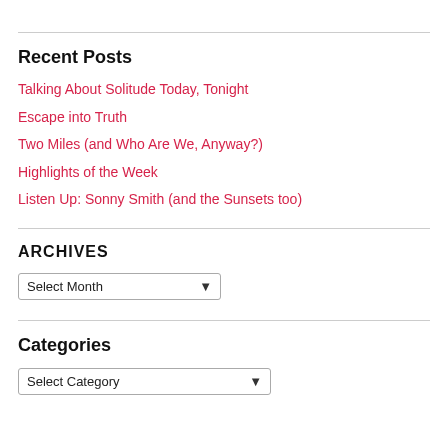Recent Posts
Talking About Solitude Today, Tonight
Escape into Truth
Two Miles (and Who Are We, Anyway?)
Highlights of the Week
Listen Up: Sonny Smith (and the Sunsets too)
ARCHIVES
Select Month
Categories
Select Category